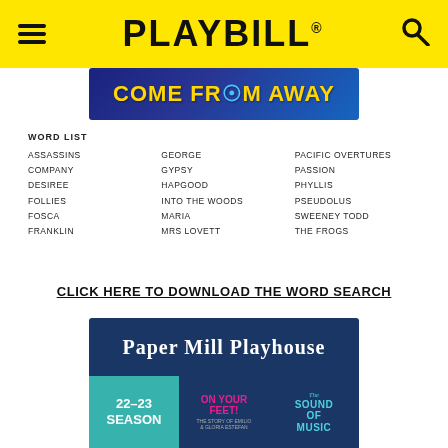PLAYBILL
[Figure (illustration): Come From Away musical banner with yellow text on blue background]
WORD LIST
ASSASSINS
COMPANY
DESIREE
FOLLIES
FOSCA
FRANKLIN
GEORGE
GYPSY
HAPGOOD
INTO THE WOODS
MARIA
MRS LOVETT
PACIFIC OVERTURES
PASSION
PHYLLIS
PSEUDOLUS
SWEENEY TODD
THE FROGS
CLICK HERE TO DOWNLOAD THE WORD SEARCH
[Figure (logo): Paper Mill Playhouse advertisement with 22-23 season, On Your Feet!, and The Sound of Music]